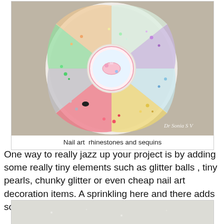[Figure (photo): A circular nail art wheel container with multiple compartments holding colorful rhinestones, sequins, and glitter in various colors including pink, green, silver, purple, and gold. The wheel has a decorative label in the center. Watermark reads 'Dr Sonia S V'.]
Nail art  rhinestones and sequins
One way to really jazz up your project is by adding some really tiny elements such as glitter balls , tiny pearls, chunky glitter or even cheap nail art decoration items. A sprinkling here and there adds so much visual appeal!
[Figure (photo): Partial view of a light-colored surface, possibly showing glitter or pearl elements, cut off at the bottom of the page.]